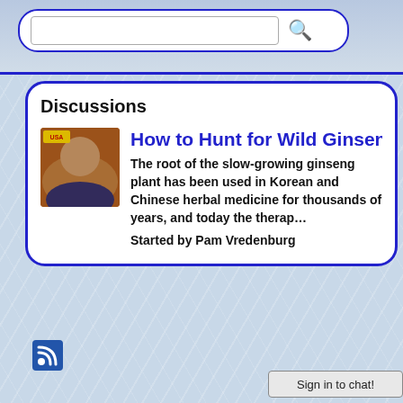[Figure (screenshot): Search bar with text input and magnifying glass icon on blue/grey gradient background]
Discussions
[Figure (photo): Avatar photo of a person with USA badge, orange/brown tones]
How to Hunt for Wild Ginseng
The root of the slow-growing ginseng plant has been used in Korean and Chinese herbal medicine for thousands of years, and today the therap…
Started by Pam Vredenburg
[Figure (logo): RSS feed icon, blue square with white RSS symbol]
Sign in to chat!